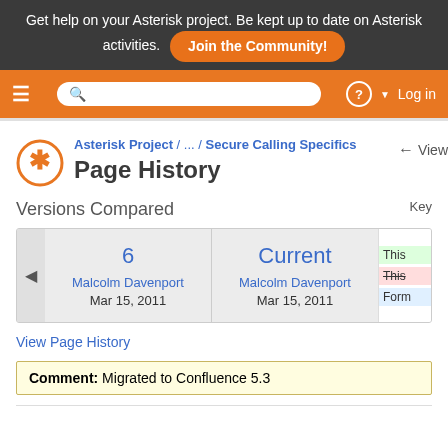Get help on your Asterisk project. Be kept up to date on Asterisk activities. Join the Community!
≡  🔍  ?  Log in
Asterisk Project / ... / Secure Calling Specifics
Page History
Versions Compared
| Version | Author | Date |
| --- | --- | --- |
| 6 | Malcolm Davenport | Mar 15, 2011 |
| Current | Malcolm Davenport | Mar 15, 2011 |
View Page History
Comment: Migrated to Confluence 5.3